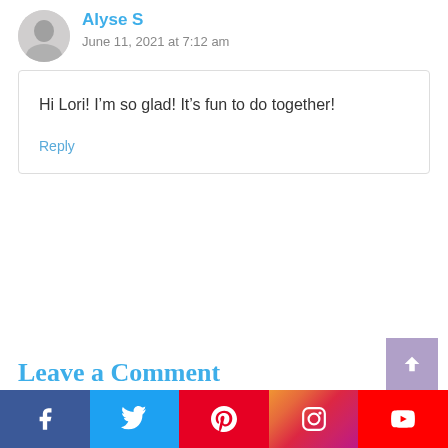[Figure (photo): Circular avatar photo of Alyse S, a woman with dark hair wearing white, shown in grayscale]
Alyse S
June 11, 2021 at 7:12 am
Hi Lori! I’m so glad! It’s fun to do together!
Reply
Leave a Comment
[Figure (infographic): Social media share buttons bar: Facebook (dark blue), Twitter (light blue), Pinterest (red), Instagram (gradient), YouTube (blue/red)]